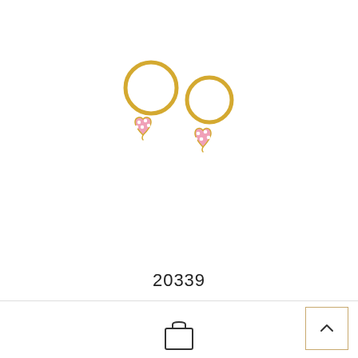[Figure (photo): Two gold hoop earrings with pink polka-dot heart-shaped enamel pendants, displayed on white background]
20339
[Figure (other): Shopping bag icon]
[Figure (other): Back to top arrow button]